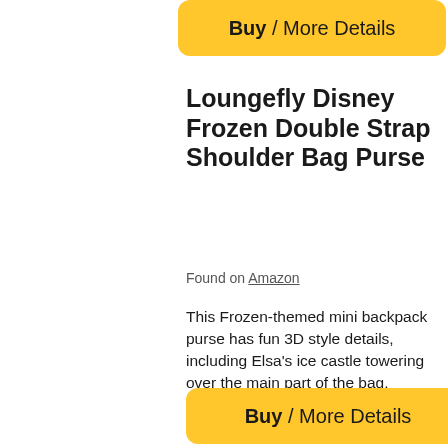Buy / More Details
Loungefly Disney Frozen Double Strap Shoulder Bag Purse
Found on Amazon
This Frozen-themed mini backpack purse has fun 3D style details, including Elsa's ice castle towering over the main part of the bag.
Buy / More Details